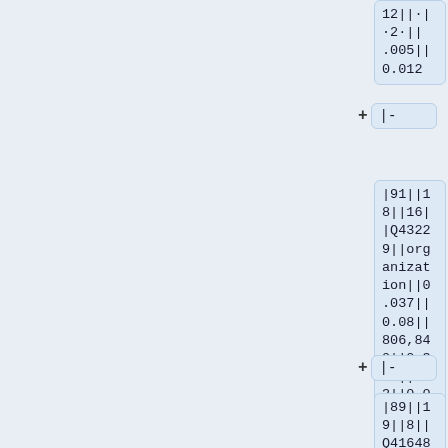.005||0.012
|-
|91||18||16||Q43229||organization||0.037||0.08||806,840||0.365||123||0.008||0.128||0.213||0.097||0.0||0.012
|-
|89||19||8||Q4164871||position||0.037||0.128||788,077||0.356||332||0.021||0.084||0.8